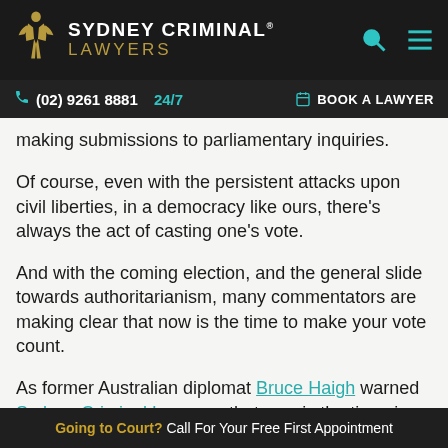[Figure (logo): Sydney Criminal Lawyers logo with golden figure and teal/gold text on dark background]
(02) 9261 8881 24/7   BOOK A LAWYER
making submissions to parliamentary inquiries.
Of course, even with the persistent attacks upon civil liberties, in a democracy like ours, there’s always the act of casting one’s vote.
And with the coming election, and the general slide towards authoritarianism, many commentators are making clear that now is the time to make your vote count.
As former Australian diplomat Bruce Haigh warned Sydney Criminal Lawyers, that now is the time, in fact
Going to Court? Call For Your Free First Appointment